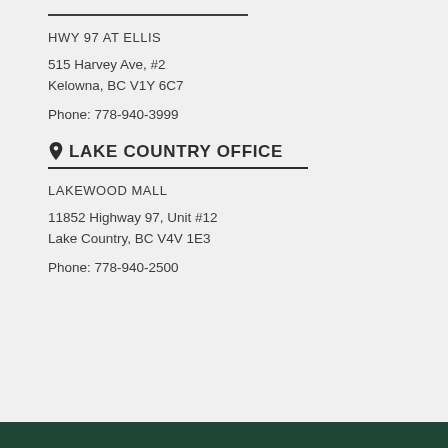HWY 97 AT ELLIS
515 Harvey Ave, #2
Kelowna, BC V1Y 6C7
Phone: 778-940-3999
LAKE COUNTRY OFFICE
LAKEWOOD MALL
11852 Highway 97, Unit #12
Lake Country, BC V4V 1E3
Phone: 778-940-2500